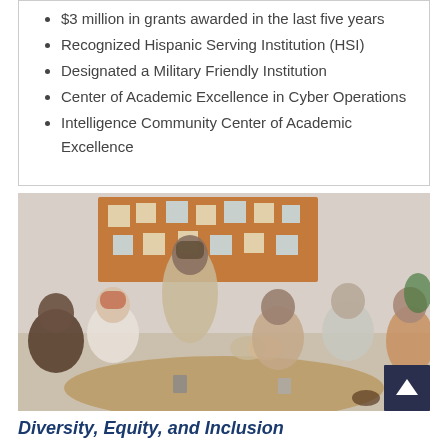$3 million in grants awarded in the last five years
Recognized Hispanic Serving Institution (HSI)
Designated a Military Friendly Institution
Center of Academic Excellence in Cyber Operations
Intelligence Community Center of Academic Excellence
[Figure (photo): Group of diverse people sitting around a table in a meeting setting, with one person standing and shaking hands across the table. A cork bulletin board with sticky notes is visible in the background.]
Diversity, Equity, and Inclusion